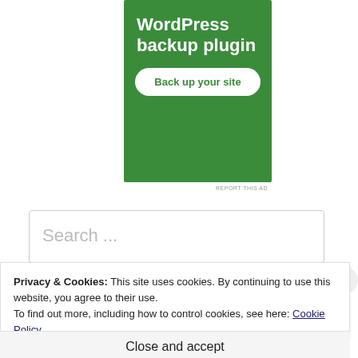[Figure (other): Green advertisement banner for a WordPress backup plugin with white text and a 'Back up your site' button]
REPORT THIS AD
Search ...
Privacy & Cookies: This site uses cookies. By continuing to use this website, you agree to their use.
To find out more, including how to control cookies, see here: Cookie Policy
Close and accept